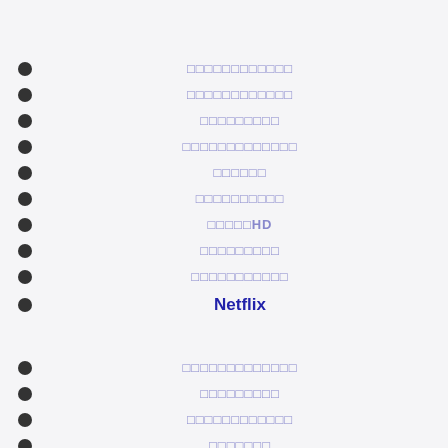□□□□□□□□□□□□
□□□□□□□□□□□□
□□□□□□□□□
□□□□□□□□□□□□□
□□□□□□
□□□□□□□□□□
□□□□□HD
□□□□□□□□□
□□□□□□□□□□□
Netflix
□□□□□□□□□□□□□
□□□□□□□□□
□□□□□□□□□□□□
□□□□□□□
□□□□□□□